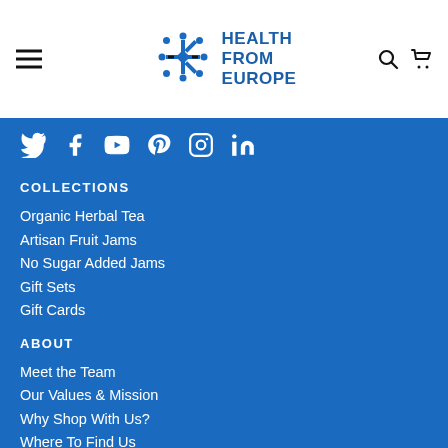Health From Europe
COLLECTIONS
Organic Herbal Tea
Artisan Fruit Jams
No Sugar Added Jams
Gift Sets
Gift Cards
ABOUT
Meet the Team
Our Values & Mission
Why Shop With Us?
Where To Find Us